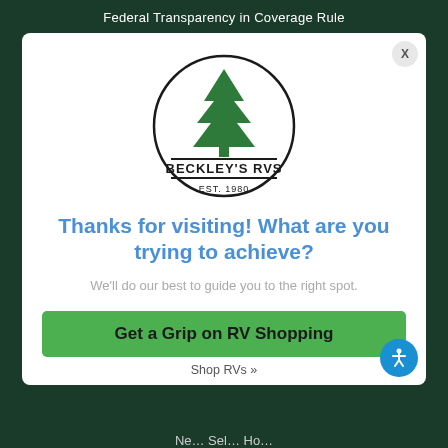Federal Transparency in Coverage Rule
[Figure (logo): Beckley's RVs logo: circular logo with a green pine tree at top, two horizontal lines framing the text 'BECKLEY'S RVS' in bold, and 'EST. 1980' below]
Thanks for visiting! What are you trying to achieve?
We'll do our best to guide you to the right spot.
Get a Grip on RV Shopping
Shop RVs »